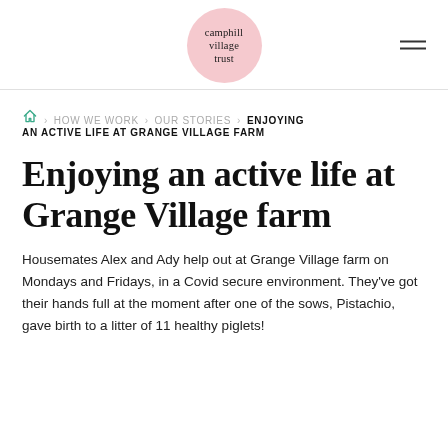camphill village trust
🏠 > HOW WE WORK > OUR STORIES > ENJOYING AN ACTIVE LIFE AT GRANGE VILLAGE FARM
Enjoying an active life at Grange Village farm
Housemates Alex and Ady help out at Grange Village farm on Mondays and Fridays, in a Covid secure environment. They've got their hands full at the moment after one of the sows, Pistachio, gave birth to a litter of 11 healthy piglets!